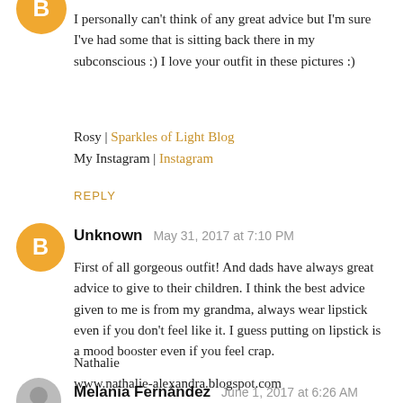[Figure (other): Orange Blogger avatar icon (top, partial)]
I personally can't think of any great advice but I'm sure I've had some that is sitting back there in my subconscious :) I love your outfit in these pictures :)
Rosy | Sparkles of Light Blog
My Instagram | Instagram
REPLY
[Figure (other): Orange Blogger avatar icon]
Unknown  May 31, 2017 at 7:10 PM
First of all gorgeous outfit! And dads have always great advice to give to their children. I think the best advice given to me is from my grandma, always wear lipstick even if you don't feel like it. I guess putting on lipstick is a mood booster even if you feel crap.
Nathalie
www.nathalie-alexandra.blogspot.com
REPLY
[Figure (photo): Small circular profile photo of Melania Fernández]
Melania Fernández  June 1, 2017 at 6:26 AM